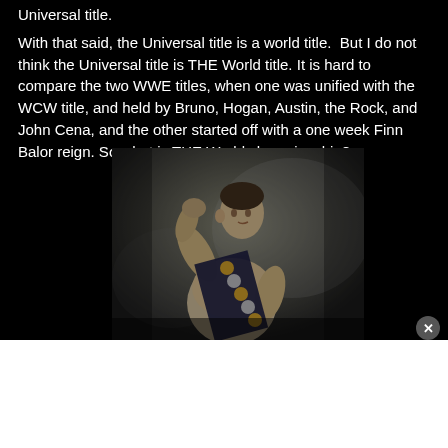Universal title.
With that said, the Universal title is a world title.  But I do not think the Universal title is THE World title. It is hard to compare the two WWE titles, when one was unified with the WCW title, and held by Bruno, Hogan, Austin, the Rock, and John Cena, and the other started off with a one week Finn Balor reign. So what is THE World championship?
[Figure (photo): Black and white vintage photo of a muscular shirtless man flexing his arm, wearing a sash with medals/badges across his chest. Classic strongman pose.]